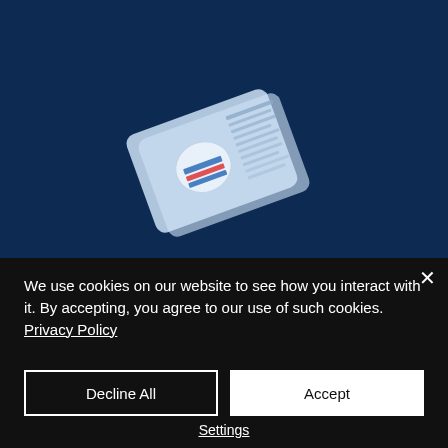[Figure (illustration): Dark navy blue background with a tilted illustrated laptop/ID card graphic in the center, showing a card with colored stripes and a circular logo element]
We use cookies on our website to see how you interact with it. By accepting, you agree to our use of such cookies. Privacy Policy
Decline All
Accept
Settings